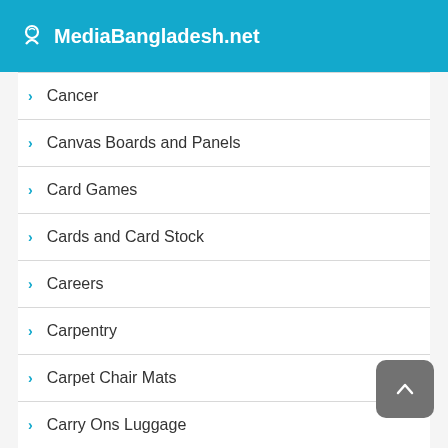MediaBangladesh.net
Cancer
Canvas Boards and Panels
Card Games
Cards and Card Stock
Careers
Carpentry
Carpet Chair Mats
Carry Ons Luggage
Cars and Trucks